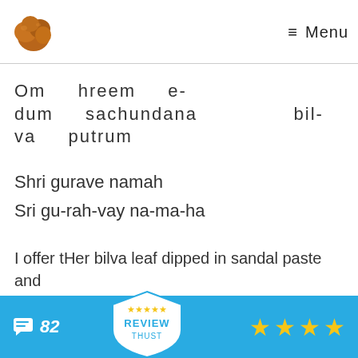☰ Menu
Om hreem e-dum sachundana bil-va putrum
Shri gurave namah
Sri gu-rah-vay na-ma-ha
I offer tHer bilva leaf dipped in sandal paste and surrender at the Goddess
The
[Figure (other): Review Trust overlay with chat bubble, 82 reviews count, shield badge with stars, and 4 gold stars rating]
[Figure (photo): Dried brown nuts/fruits logo in top left corner]